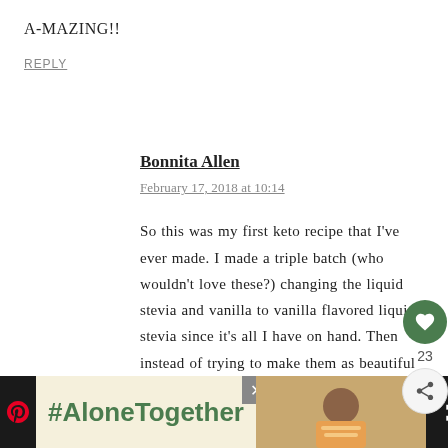A-MAZING!!
REPLY
Bonnita Allen
February 17, 2018 at 10:14
So this was my first keto recipe that I've ever made. I made a triple batch (who wouldn't love these?) changing the liquid stevia and vanilla to vanilla flavored liquid stevia since it's all I have on hand. Then instead of trying to make them as beautiful as the pics I cheated and used reusable 2oz souffle
[Figure (infographic): Ad banner at bottom: #AloneTogether hashtag on tan background with woman image, Pinterest icon, dark panel. Close button visible. Heart/like (23) and share buttons on right side overlay.]